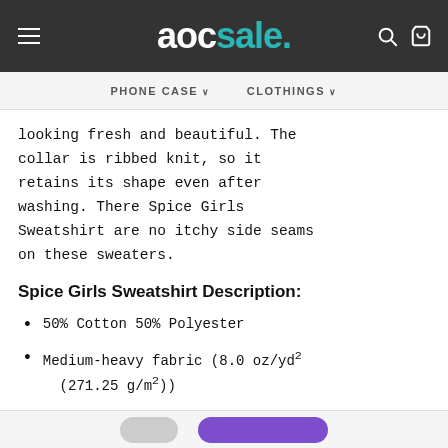aocsale.
PHONE CASE  CLOTHINGS
looking fresh and beautiful. The collar is ribbed knit, so it retains its shape even after washing. There Spice Girls Sweatshirt are no itchy side seams on these sweaters.
Spice Girls Sweatshirt Description:
50% Cotton 50% Polyester
Medium-heavy fabric (8.0 oz/yd² (271.25 g/m²))
Classic fit